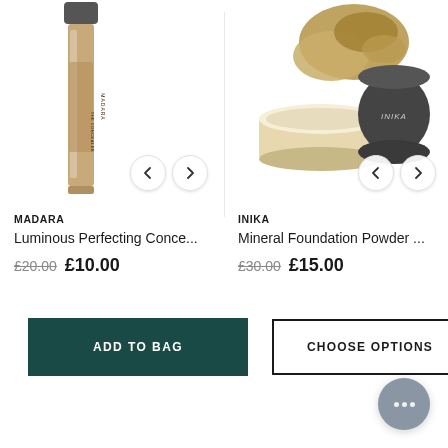[Figure (photo): MADARA Luminous Perfecting Concealer product image — a slim tube/bottle with beige/tan color, black cap and branding text, with left/right navigation arrows]
[Figure (photo): INIKA Mineral Foundation Powder product image — a clear jar with loose golden-tan powder spilling out, black lid beside it with INIKA branding, with left/right navigation arrows]
MADARA
Luminous Perfecting Conce...
£20.00  £10.00
INIKA
Mineral Foundation Powder ...
£30.00  £15.00
ADD TO BAG
CHOOSE OPTIONS